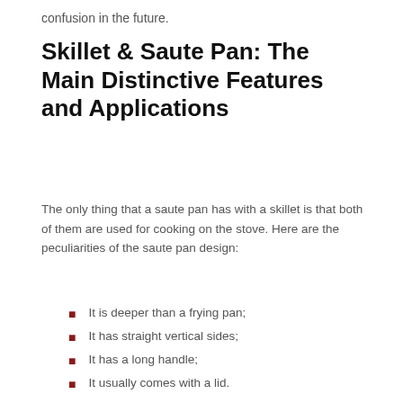confusion in the future.
Skillet & Saute Pan: The Main Distinctive Features and Applications
The only thing that a saute pan has with a skillet is that both of them are used for cooking on the stove. Here are the peculiarities of the saute pan design:
It is deeper than a frying pan;
It has straight vertical sides;
It has a long handle;
It usually comes with a lid.